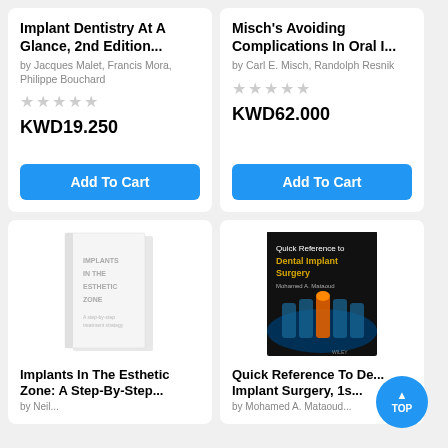Implant Dentistry At A Glance, 2nd Edition...
by Jacques Malet, Francis Mora, Philippe Bouchard
KWD19.250
Misch's Avoiding Complications In Oral I...
by Carl E. Misch, Randolph Resnik
KWD62.000
[Figure (photo): Book cover: Implants In The Esthetic Zone - white book with large text on cover]
Implants In The Esthetic Zone: A Step-By-Step...
by Neil...
[Figure (photo): Book cover: Quick Reference to Dental Implant Surgery - dark cover with glowing dental implant X-ray image]
Quick Reference To Dental Implant Surgery, 1s...
by Mohamed A. Mataoud...